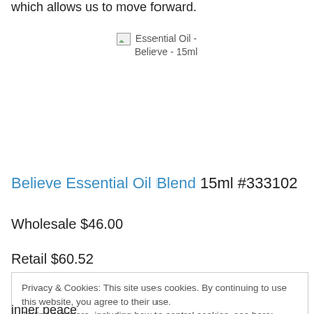which allows us to move forward.
[Figure (photo): Broken image placeholder labeled 'Essential Oil - Believe - 15ml']
Believe Essential Oil Blend 15ml #333102
Wholesale $46.00
Retail $60.52
Privacy & Cookies: This site uses cookies. By continuing to use this website, you agree to their use.
To find out more, including how to control cookies, see here: Cookie Policy
inner peace